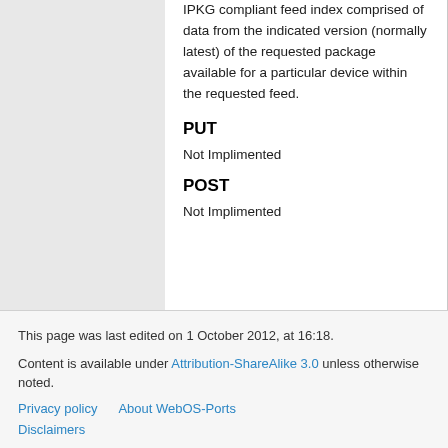IPKG compliant feed index comprised of data from the indicated version (normally latest) of the requested package available for a particular device within the requested feed.
PUT
Not Implimented
POST
Not Implimented
This page was last edited on 1 October 2012, at 16:18.
Content is available under Attribution-ShareAlike 3.0 unless otherwise noted.
Privacy policy   About WebOS-Ports
Disclaimers